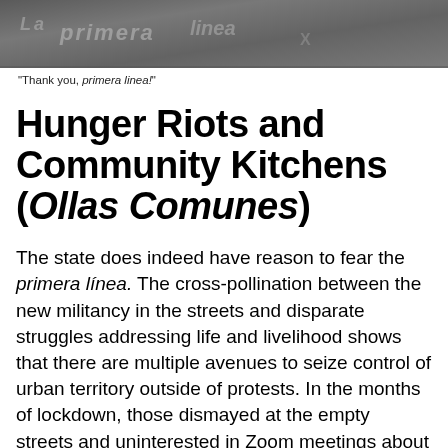[Figure (photo): Graffiti wall image, dark tones, partially visible text on wall]
"Thank you, primera linea!"
Hunger Riots and Community Kitchens (Ollas Comunes)
The state does indeed have reason to fear the primera línea. The cross-pollination between the new militancy in the streets and disparate struggles addressing life and livelihood shows that there are multiple avenues to seize control of urban territory outside of protests. In the months of lockdown, those dismayed at the empty streets and uninterested in Zoom meetings about the constitutional assembly focused on autonomous relief efforts. After months